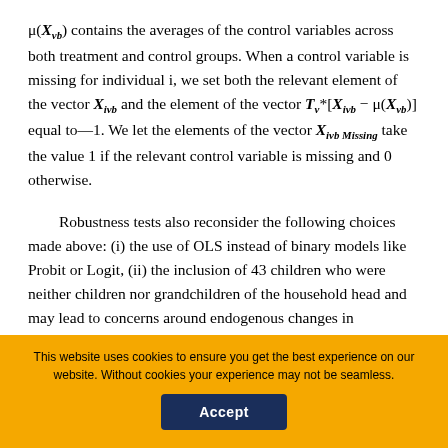μ(X_vb) contains the averages of the control variables across both treatment and control groups. When a control variable is missing for individual i, we set both the relevant element of the vector X_ivb and the element of the vector T_v*[X_ivb − μ(X_vb)] equal to—1. We let the elements of the vector X_ivb Missing take the value 1 if the relevant control variable is missing and 0 otherwise.
Robustness tests also reconsider the following choices made above: (i) the use of OLS instead of binary models like Probit or Logit, (ii) the inclusion of 43 children who were neither children nor grandchildren of the household head and may lead to concerns around endogenous changes in household...
This website uses cookies to ensure you get the best experience on our website. Without cookies your experience may not be seamless.